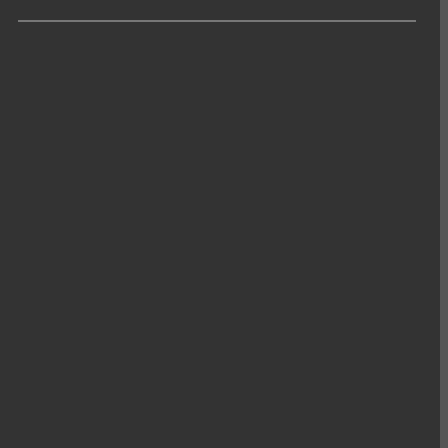Tillman's deliberat looks for
"Nothing other sol
The doc suspicio took the was rebu Division
"He said testified.
Also acc a questio
"Have yo have you by anybo Richard
Scott, ar accident
Investiga disliked, arrogant
The doc